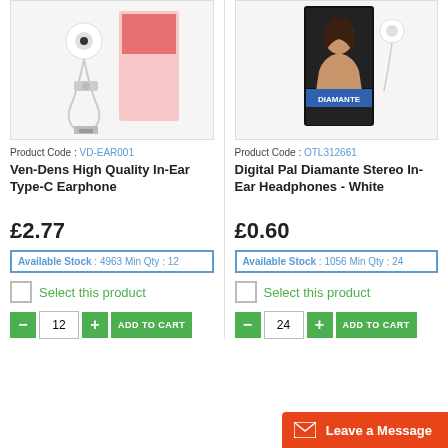[Figure (photo): Ven-Dens High Quality In-Ear Type-C Earphone product photo showing white earphones with cable and packaging]
[Figure (photo): Digital Pal Diamante Stereo In-Ear Headphones - White product photo showing headphone packaging with woman's photo]
Product Code : VD-EAR001
Product Code : OTL312661
Ven-Dens High Quality In-Ear Type-C Earphone
Digital Pal Diamante Stereo In-Ear Headphones - White
£2.77
£0.60
Available Stock : 4963 Min Qty : 12
Available Stock : 1056 Min Qty : 24
Select this product
Select this product
12
ADD TO CART
24
ADD TO CART
Leave a Message